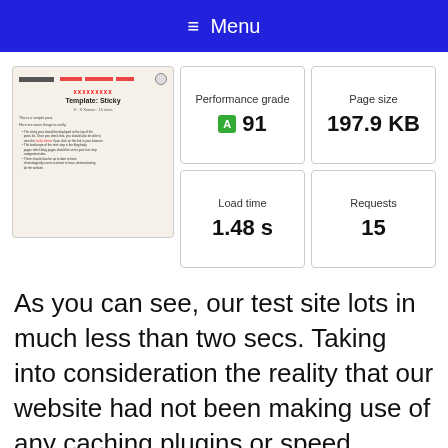≡ Menu
[Figure (screenshot): Screenshot of a webpage titled 'Template: Sticky' with a beige background, showing a top navigation bar, red heading, bold title, subtitle, and bulleted body text.]
| Metric | Value |
| --- | --- |
| Performance grade | A 91 |
| Page size | 197.9 KB |
| Load time | 1.48 s |
| Requests | 15 |
As you can see, our test site lots in much less than two secs. Taking into consideration the reality that our website had not been making use of any caching plugins or speed optimization